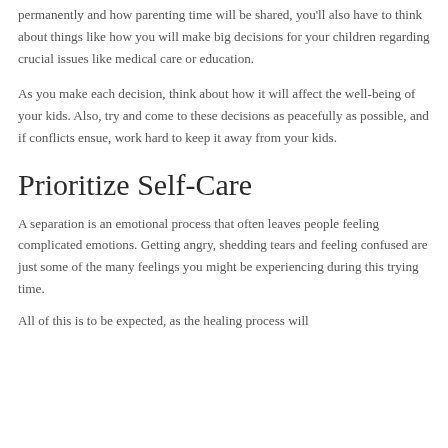permanently and how parenting time will be shared, you'll also have to think about things like how you will make big decisions for your children regarding crucial issues like medical care or education.
As you make each decision, think about how it will affect the well-being of your kids. Also, try and come to these decisions as peacefully as possible, and if conflicts ensue, work hard to keep it away from your kids.
Prioritize Self-Care
A separation is an emotional process that often leaves people feeling complicated emotions. Getting angry, shedding tears and feeling confused are just some of the many feelings you might be experiencing during this trying time.
All of this is to be expected, as the healing process will